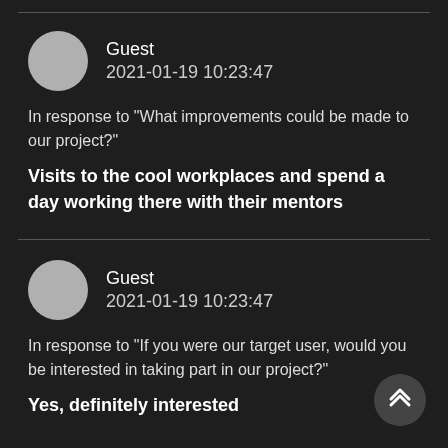Guest
2021-01-19 10:23:47
In response to "What improvements could be made to our project?"
Visits to the cool workplaces and spend a day working there with their mentors
Guest
2021-01-19 10:23:47
In response to "If you were our target user, would you be interested in taking part in our project?"
Yes, definitely interested